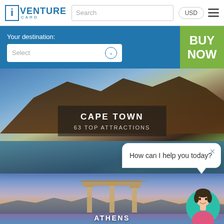[Figure (screenshot): iVenture Card website navbar with logo, search box, USD currency button, and hamburger menu]
Your destination:
Select
BUY NOW
[Figure (photo): Aerial photo of Cape Town with Table Mountain in background, harbor in foreground. Overlay text reads: CAPE TOWN / 63 TOP ATTRACTIONS]
CAPE TOWN
63 TOP ATTRACTIONS
How can I help you today?
[Figure (photo): Photo of Athens with ancient ruins/columns, pink sunset sky and mountains. Label: ATHENS]
ATHENS